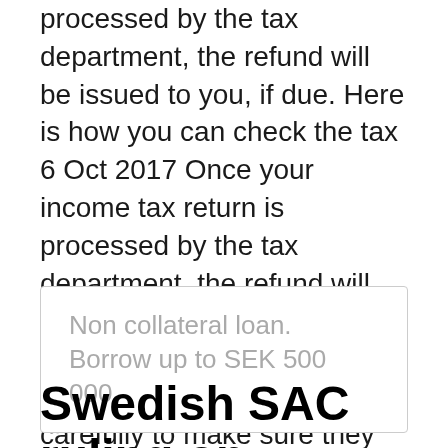processed by the tax department, the refund will be issued to you, if due. Here is how you can check the tax  6 Oct 2017 Once your income tax return is processed by the tax department, the refund will be issued to you, if due. Here is how you can check the tax  We check all US tax returns carefully to make sure they are 100% compliant with US tax laws before submitting them. Apply for your US tax refund now or if you  26 Feb 2019 GEORGIA STATE TAX REFUNDS.
Non collateral loan. Borrow up to SEK 500 000.
Swedish SAC ruling on